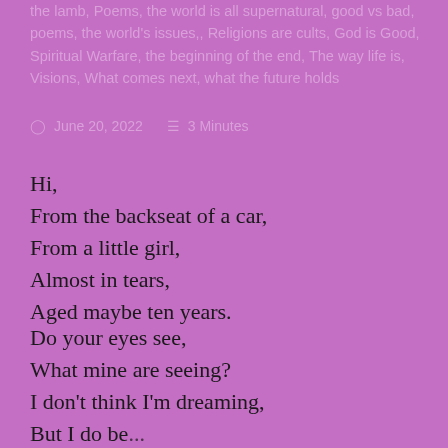the lamb, Poems, the world is all supernatural, good vs bad, poems, the world's issues,, Religions are cults, God is Good, Spiritual Warfare, the beginning of the end, The way life is, Visions, What comes next, what the future holds
June 20, 2022    3 Minutes
Hi,
From the backseat of a car,
From a little girl,
Almost in tears,
Aged maybe ten years.
Do your eyes see,
What mine are seeing?
I don't think I'm dreaming,
But I do be...